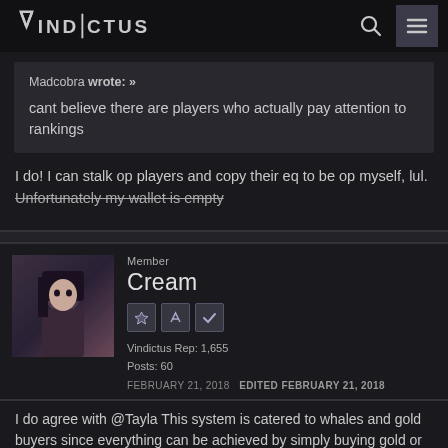Vindictus
Madcobra wrote: »
cant believe there are players who actually pay attention to rankings
I do! I can stalk op players and copy their eq to be op myself, lul. Unfortunately my wallet is empty
Member
Cream
Vindictus Rep: 1,655
Posts: 60
FEBRUARY 21, 2018  EDITED FEBRUARY 21, 2018
I do agree with @Tayla This system is catered to whales and gold buyers since everything can be achieved by simply buying gold or